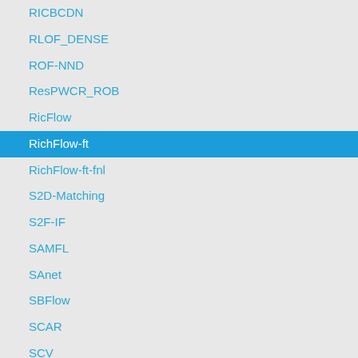RICBCDN
RLOF_DENSE
ROF-NND
ResPWCR_ROB
RicFlow
RichFlow-ft
RichFlow-ft-fnl
S2D-Matching
S2F-IF
SAMFL
SAnet
SBFlow
SCAR
SCV
SDFlow
SENSE
SFL
SJTU_PAMI418
SKFlow